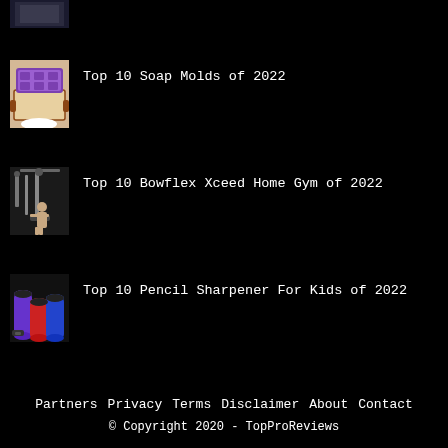[Figure (photo): Partial thumbnail of first item (cut off at top)]
Top 10 Soap Molds of 2022
[Figure (photo): Thumbnail of soap mold product]
Top 10 Bowflex Xceed Home Gym of 2022
[Figure (photo): Thumbnail of Bowflex home gym product]
Top 10 Pencil Sharpener For Kids of 2022
[Figure (photo): Thumbnail of pencil sharpeners product]
Partners  Privacy  Terms  Disclaimer  About  Contact
© Copyright 2020 - TopProReviews